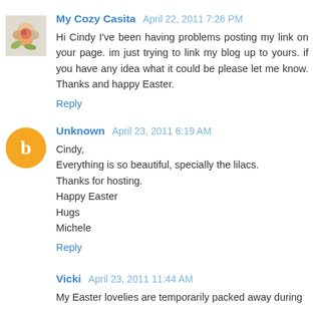My Cozy Casita  April 22, 2011 7:26 PM
Hi Cindy I've been having problems posting my link on your page. im just trying to link my blog up to yours. if you have any idea what it could be please let me know. Thanks and happy Easter.
Reply
Unknown  April 23, 2011 6:19 AM
Cindy,
Everything is so beautiful, specially the lilacs.
Thanks for hosting.
Happy Easter
Hugs
Michele
Reply
Vicki  April 23, 2011 11:44 AM
My Easter lovelies are temporarily packed away during